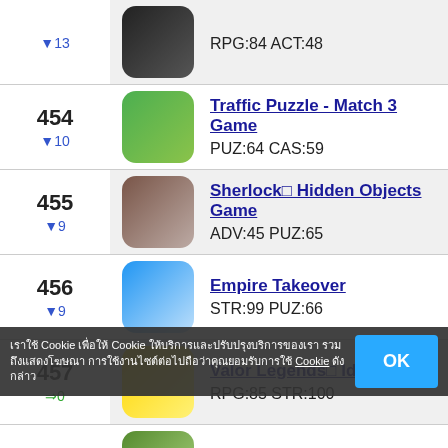| Rank | Icon | Game Info |
| --- | --- | --- |
| ▼13 |  | RPG:84 ACT:48 |
| 454
▼10 |  | Traffic Puzzle - Match 3 Game
PUZ:64 CAS:59 |
| 455
▼9 |  | Sherlock□ Hidden Objects Game
ADV:45 PUZ:65 |
| 456
▼9 |  | Empire Takeover
STR:99 PUZ:66 |
| 457
⇒0 |  | Valor Legends□ Idle RPG
RPG:85 STR:100 |
| 458
▼3 |  | Z Day□ Hearts of Heroes
RPG:86 STR:101 |
| 459
▼18 |  | Football Club Management 23
SLG:99 SPO:...(partial) |
| 460
▼9 |  | WGT Golf
SLG:99 SPO:...(partial) |